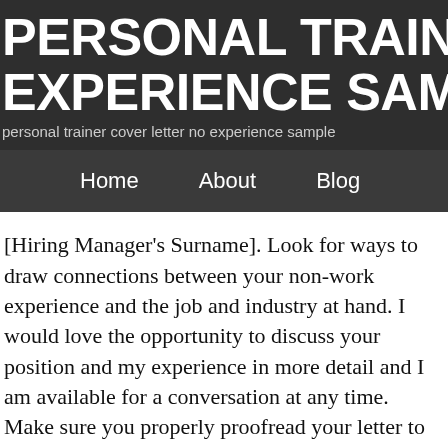PERSONAL TRAINER COVER LETTER NO EXPERIENCE SAMPLE
personal trainer cover letter no experience sample
Home   About   Blog
[Hiring Manager's Surname]. Look for ways to draw connections between your non-work experience and the job and industry at hand. I would love the opportunity to discuss your position and my experience in more detail and I am available for a conversation at any time. Make sure you properly proofread your letter to pick up on any mistakes or typos. From creating personalized workout plans to motivating clients, certified trainers are in high demand for instructing people on health and fitness. Just answer a few simple questions and you'll have a fully-written professional cover letter! Before you start writing, make sure you know how to write a cover letter in a way that makes you seem like the best candidate for the